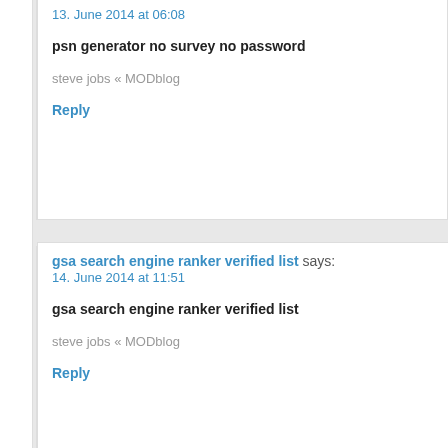13. June 2014 at 06:08
psn generator no survey no password
steve jobs « MODblog
Reply
gsa search engine ranker verified list says:
14. June 2014 at 11:51
gsa search engine ranker verified list
steve jobs « MODblog
Reply
free skype credit generator for android says:
15. June 2014 at 16:05
free skype credit generator for android
steve jobs « MODblog
Reply
hill climb racing cheat download free says:
15. June 2014 at 16:46
hill climb racing cheat download free
steve jobs « MODb...